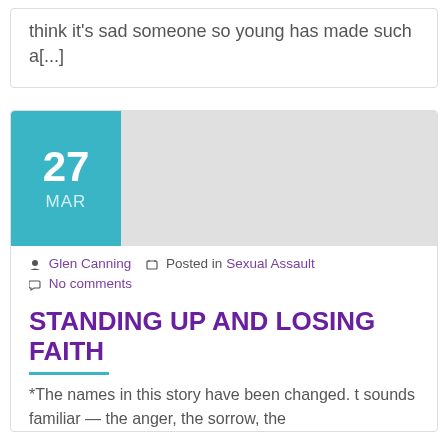think it's sad someone so young has made such a[...]
[Figure (other): Date badge showing 27 MAR in teal/cyan color with a gray image placeholder area]
Glen Canning  Posted in Sexual Assault  No comments
STANDING UP AND LOSING FAITH
*The names in this story have been changed. t sounds familiar — the anger, the sorrow, the